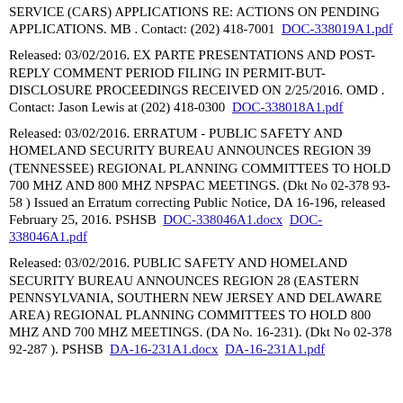SERVICE (CARS) APPLICATIONS RE: ACTIONS ON PENDING APPLICATIONS. MB . Contact: (202) 418-7001  DOC-338019A1.pdf
Released: 03/02/2016. EX PARTE PRESENTATIONS AND POST-REPLY COMMENT PERIOD FILING IN PERMIT-BUT-DISCLOSURE PROCEEDINGS RECEIVED ON 2/25/2016. OMD . Contact: Jason Lewis at (202) 418-0300  DOC-338018A1.pdf
Released: 03/02/2016. ERRATUM - PUBLIC SAFETY AND HOMELAND SECURITY BUREAU ANNOUNCES REGION 39 (TENNESSEE) REGIONAL PLANNING COMMITTEES TO HOLD 700 MHZ AND 800 MHZ NPSPAC MEETINGS. (Dkt No 02-378 93-58 ) Issued an Erratum correcting Public Notice, DA 16-196, released February 25, 2016. PSHSB  DOC-338046A1.docx  DOC-338046A1.pdf
Released: 03/02/2016. PUBLIC SAFETY AND HOMELAND SECURITY BUREAU ANNOUNCES REGION 28 (EASTERN PENNSYLVANIA, SOUTHERN NEW JERSEY AND DELAWARE AREA) REGIONAL PLANNING COMMITTEES TO HOLD 800 MHZ AND 700 MHZ MEETINGS. (DA No. 16-231). (Dkt No 02-378 92-287 ). PSHSB  DA-16-231A1.docx  DA-16-231A1.pdf